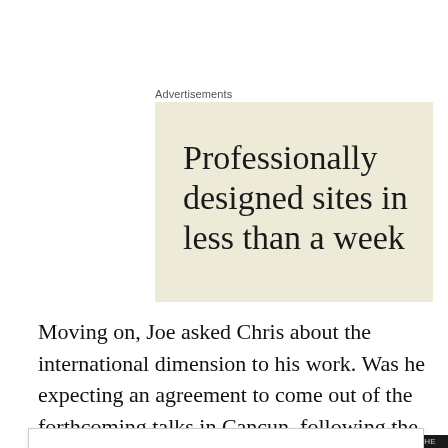Advertisements
[Figure (other): Advertisement banner with beige/cream background showing text: 'Professionally designed sites in less than a week']
Moving on, Joe asked Chris about the international dimension to his work. Was he expecting an agreement to come out of the forthcoming talks in Cancun, following the
Privacy & Cookies: This site uses cookies. By continuing to use this website, you agree to their use.
To find out more, including how to control cookies, see here: Cookie Policy
Close and accept